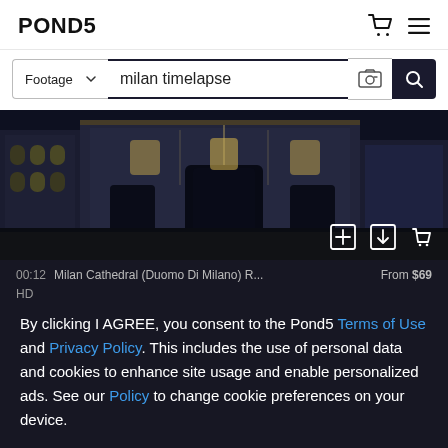[Figure (screenshot): Pond5 website header with logo on left and cart/menu icons on right]
[Figure (screenshot): Search bar with Footage dropdown, 'milan timelapse' text input, image search icon, and search button]
[Figure (photo): Night photograph of Milan Cathedral (Duomo di Milano) facade illuminated with lights]
00:12  Milan Cathedral (Duomo Di Milano) R...  From $69
HD
By clicking I AGREE, you consent to the Pond5 Terms of Use and Privacy Policy. This includes the use of personal data and cookies to enhance site usage and enable personalized ads. See our Policy to change cookie preferences on your device.
I AGREE